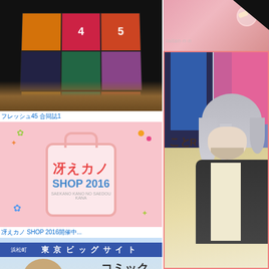[Figure (photo): Person holding a colorful grid booklet with numbered anime character cards (numbers 4, 5 visible), dark background]
フレッシュ45 合同誌1
[Figure (photo): Saekano SHOP 2016 promotional banner/logo on pink background with shopping bag illustration and Japanese text]
冴えカノ SHOP 2016開催中...
[Figure (photo): Tokyo Big Sight building sign with Comic Market 89 advertisement featuring anime girl illustration]
[Figure (photo): Close-up pink fabric/accessory with embroidered design, watermark text taitan-n-n visible]
[Figure (photo): Person with silver/grey hair at what appears to be a convention, colorful banners in background including pink and blue]